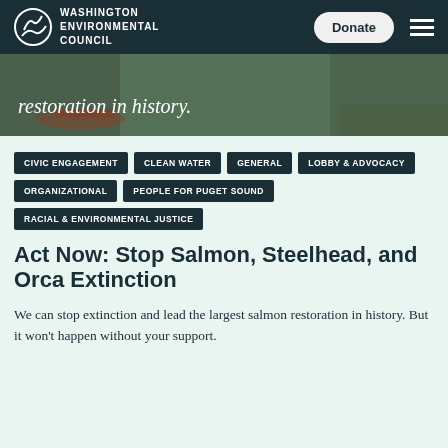Washington Environmental Council
[Figure (photo): Hero image banner showing outdoor/river scene with text overlay 'restoration in history.']
CIVIC ENGAGEMENT
CLEAN WATER
GENERAL
LOBBY & ADVOCACY
ORGANIZATIONAL
PEOPLE FOR PUGET SOUND
RACIAL & ENVIRONMENTAL JUSTICE
Act Now: Stop Salmon, Steelhead, and Orca Extinction
We can stop extinction and lead the largest salmon restoration in history. But it won't happen without your support.